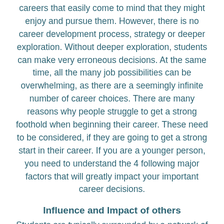careers that easily come to mind that they might enjoy and pursue them. However, there is no career development process, strategy or deeper exploration. Without deeper exploration, students can make very erroneous decisions. At the same time, all the many job possibilities can be overwhelming, as there are a seemingly infinite number of career choices. There are many reasons why people struggle to get a strong foothold when beginning their career. These need to be considered, if they are going to get a strong start in their career. If you are a younger person, you need to understand the 4 following major factors that will greatly impact your important career decisions.
Influence and Impact of others
Students are typically surrounded by a network of